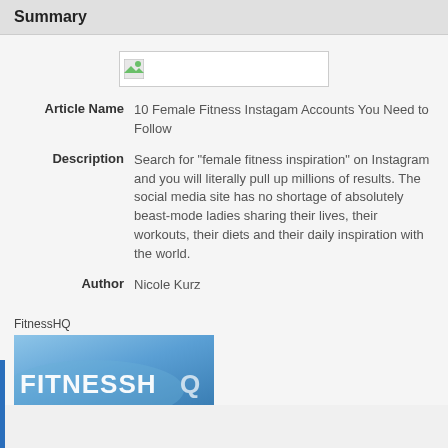Summary
[Figure (other): Broken image placeholder with white background and green corner icon]
Article Name   10 Female Fitness Instagam Accounts You Need to Follow
Description   Search for "female fitness inspiration" on Instagram and you will literally pull up millions of results. The social media site has no shortage of absolutely beast-mode ladies sharing their lives, their workouts, their diets and their daily inspiration with the world.
Author   Nicole Kurz
FitnessHQ
[Figure (photo): Photo of a blue FitnessHQ branded fabric/shirt with white text reading FITNESSHQ]